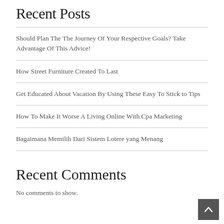Recent Posts
Should Plan The The Journey Of Your Respective Goals? Take Advantage Of This Advice!
How Street Furniture Created To Last
Get Educated About Vacation By Using These Easy To Stick to Tips
How To Make It Worse A Living Online With Cpa Marketing
Bagaimana Memilih Dari Sistem Lotere yang Menang
Recent Comments
No comments to show.